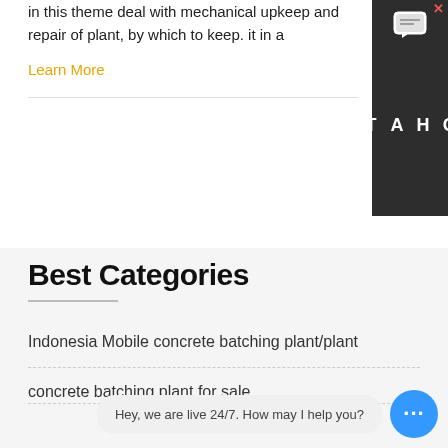in this theme deal with mechanical upkeep and repair of plant, by which to keep. it in a
Learn More
[Figure (screenshot): Chat widget on the right side showing message icon and CHAT letters vertically with a close button]
Best Categories
Indonesia Mobile concrete batching plant/plant
concrete batching plant for sale
[Figure (screenshot): Live chat popup bubble with text 'Hey, we are live 24/7. How may I help you?' and a blue chat button with ellipsis dots]